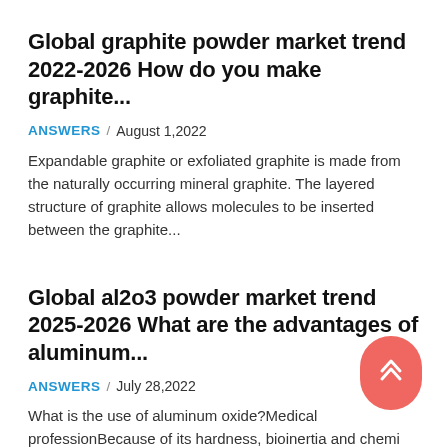Global graphite powder market trend 2022-2026 How do you make graphite...
ANSWERS / August 1,2022
Expandable graphite or exfoliated graphite is made from the naturally occurring mineral graphite. The layered structure of graphite allows molecules to be inserted between the graphite...
Global al2o3 powder market trend 2025-2026 What are the advantages of aluminum...
ANSWERS / July 28,2022
What is the use of aluminum oxide?Medical professionBecause of its hardness, bioinertia and chemi properties, alumina is the preferred material for hip...